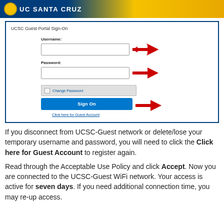[Figure (screenshot): UCSC Guest Portal Sign-On form screenshot with username field, password field, Change Password button, Sign On button, and Click here for Guest Account link. Red arrows point to username field, password field, and Sign On button.]
If you disconnect from UCSC-Guest network or delete/lose your temporary username and password, you will need to click the Click here for Guest Account to register again.
Read through the Acceptable Use Policy and click Accept. Now you are connected to the UCSC-Guest WiFi network. Your access is active for seven days. If you need additional connection time, you may re-up access.